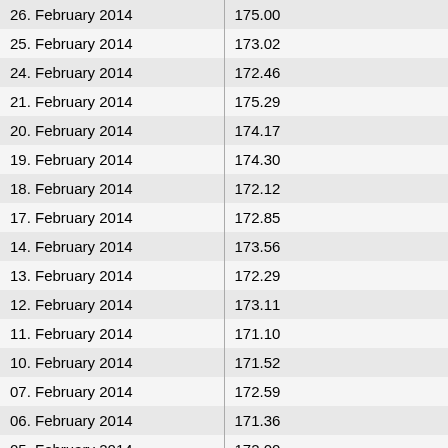| date | Aluminium for cables |
| --- | --- |
| 26. February 2014 | 175.00 |
| 25. February 2014 | 173.02 |
| 24. February 2014 | 172.46 |
| 21. February 2014 | 175.29 |
| 20. February 2014 | 174.17 |
| 19. February 2014 | 174.30 |
| 18. February 2014 | 172.12 |
| 17. February 2014 | 172.85 |
| 14. February 2014 | 173.56 |
| 13. February 2014 | 172.29 |
| 12. February 2014 | 173.11 |
| 11. February 2014 | 171.10 |
| 10. February 2014 | 171.52 |
| 07. February 2014 | 172.59 |
| 06. February 2014 | 171.36 |
| 05. February 2014 | 172.00 |
| 04. February 2014 | 170.46 |
| 03. February 2014 | 171.79 |
| 31. January 2014 | 171.71 |
| 30. January 2014 | 172.88 |
| 29. January 2014 | 173.96 |
| 28. January 2014 | 174.41 |
| 27. January 2014 | 173.96 |
| 24. January 2014 | 174.60 |